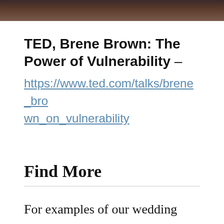[Figure (photo): Top portion of a photo showing a person outdoors, partially cropped at top of page]
TED, Brene Brown: The Power of Vulnerability –
https://www.ted.com/talks/brene_brown_on_vulnerability
Find More
For examples of our wedding